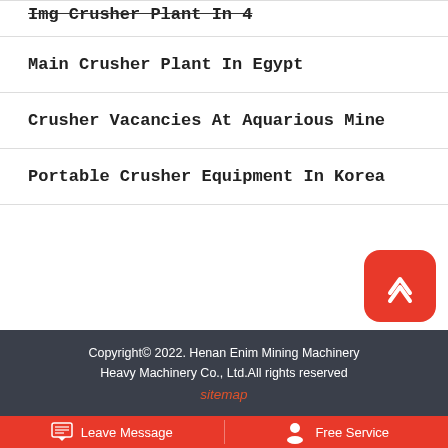Img Crusher Plant In 4
Main Crusher Plant In Egypt
Crusher Vacancies At Aquarious Mine
Portable Crusher Equipment In Korea
Copyright© 2022. Henan Enim Mining Machinery Heavy Machinery Co., Ltd.All rights reserved
sitemap
Leave Message   Free Service